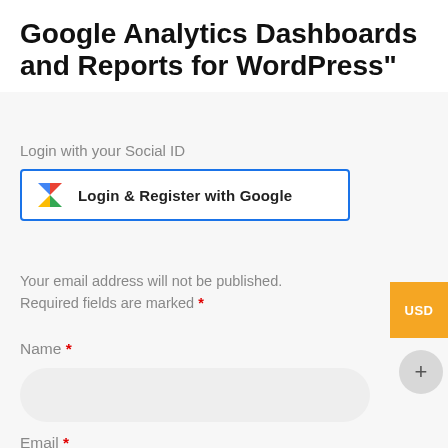Google Analytics Dashboards and Reports for WordPress”
Login with your Social ID
[Figure (screenshot): Login & Register with Google button with Google logo icon and blue border]
Your email address will not be published. Required fields are marked *
Name *
[Figure (screenshot): Name input field with rounded corners]
Email *
[Figure (screenshot): Email input field with rounded corners]